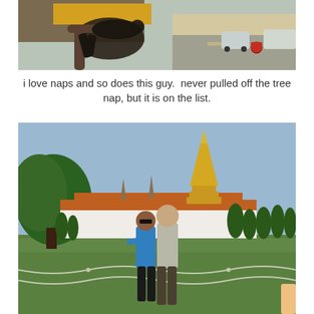[Figure (photo): A person lying/resting on a tree branch on a busy street sidewalk, with cars and a motorcyclist visible in the background on a street in Southeast Asia (likely Thailand).]
i love naps and so does this guy.  never pulled off the tree nap, but it is on the list.
[Figure (photo): Two people (a woman in a blue shirt and a man in a gray shirt) posing together on a green lawn in front of what appears to be the Grand Palace complex in Bangkok, Thailand, with a golden spire visible in the background and manicured trees lining the area.]